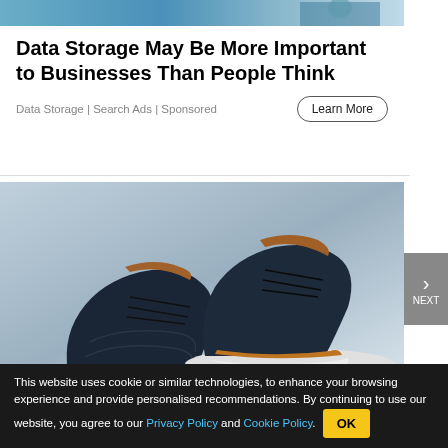[Figure (photo): Banner image at top, shows a person with blue background]
Data Storage May Be More Important to Businesses Than People Think
Data Storage | Search Ads | Sponsored
[Figure (photo): Product photo of dark navy blue dress shoes with brown leather accents and white soles on a light blue background]
Gronk's Favorite "Dressy" Shoes Feel
This website uses cookie or similar technologies, to enhance your browsing experience and provide personalised recommendations. By continuing to use our website, you agree to our Privacy Policy and Cookie Policy.